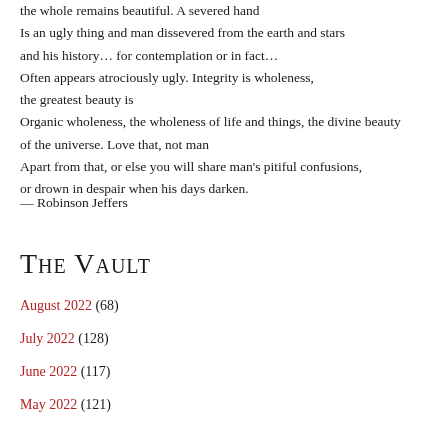the whole remains beautiful. A severed hand
Is an ugly thing and man dissevered from the earth and stars
and his history… for contemplation or in fact…
Often appears atrociously ugly. Integrity is wholeness,
the greatest beauty is
Organic wholeness, the wholeness of life and things, the divine beauty
of the universe. Love that, not man
Apart from that, or else you will share man's pitiful confusions,
or drown in despair when his days darken.
— Robinson Jeffers
The Vault
August 2022 (68)
July 2022 (128)
June 2022 (117)
May 2022 (121)